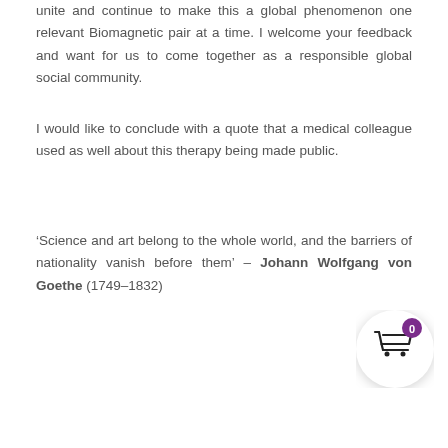unite and continue to make this a global phenomenon one relevant Biomagnetic pair at a time. I welcome your feedback and want for us to come together as a responsible global social community.
I would like to conclude with a quote that a medical colleague used as well about this therapy being made public.
‘Science and art belong to the whole world, and the barriers of nationality vanish before them’ – Johann Wolfgang von Goethe (1749–1832)
[Figure (other): Shopping cart icon with a purple badge showing the number 0, displayed in the bottom-right area of the page.]